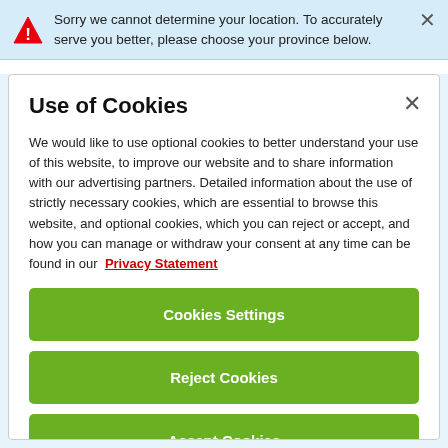Sorry we cannot determine your location. To accurately serve you better, please choose your province below.
Use of Cookies
We would like to use optional cookies to better understand your use of this website, to improve our website and to share information with our advertising partners. Detailed information about the use of strictly necessary cookies, which are essential to browse this website, and optional cookies, which you can reject or accept, and how you can manage or withdraw your consent at any time can be found in our Privacy Statement
Cookies Settings
Reject Cookies
Accept Cookies